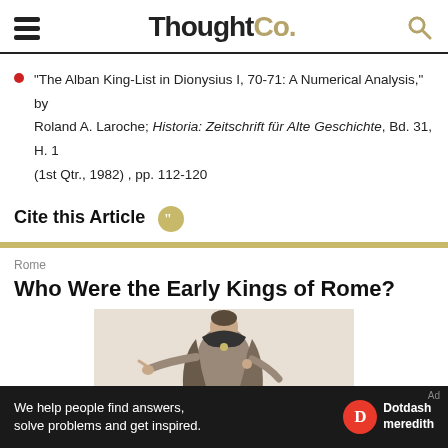ThoughtCo.
"The Alban King-List in Dionysius I, 70-71: A Numerical Analysis," by Roland A. Laroche; Historia: Zeitschrift für Alte Geschichte, Bd. 31, H. 1 (1st Qtr., 1982) , pp. 112-120
Cite this Article
Rome
Who Were the Early Kings of Rome?
[Figure (illustration): Classical illustration of a Roman figure in a robe/toga, reaching out with one hand]
We help people find answers, solve problems and get inspired. Dotdash meredith